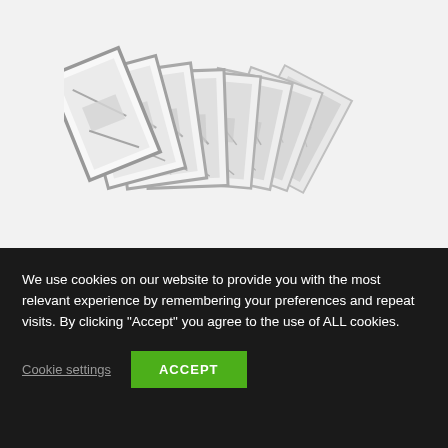[Figure (photo): A fan of stacked framed prints or artworks arranged diagonally from upper-left to lower-right against a light grey background, showing black and white illustrations/sketches.]
We use cookies on our website to provide you with the most relevant experience by remembering your preferences and repeat visits. By clicking "Accept" you agree to the use of ALL cookies.
Cookie settings
ACCEPT